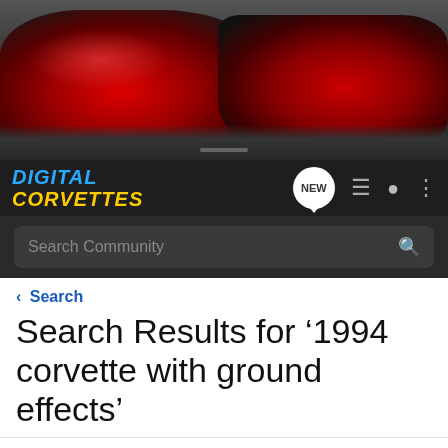[Figure (photo): Hero banner showing two red Corvette sports cars driving on a road — front view on left, rear view on right, dark moody background]
[Figure (logo): Digital Corvettes logo — blue DIGITAL text over yellow CORVETTES text, italic bold style]
NEW (chat bubble icon)
Search Community (search bar placeholder)
< Search
Search Results for '1994 corvette with ground effects'
< dia  Media Comments  Tags  Marketplace
Search Tags